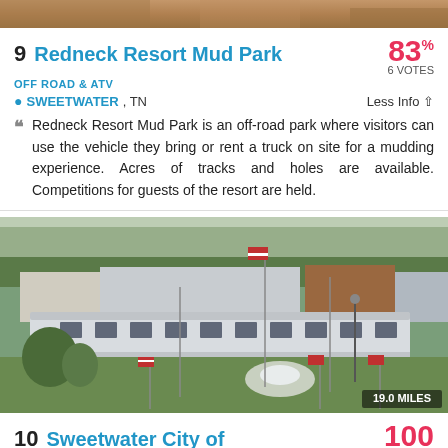[Figure (photo): Top cropped photo strip showing a reddish-brown outdoor scene]
9 Redneck Resort Mud Park
83% 6 VOTES
OFF ROAD & ATV
SWEETWATER, TN
Less Info
Redneck Resort Mud Park is an off-road park where visitors can use the vehicle they bring or rent a truck on site for a mudding experience. Acres of tracks and holes are available. Competitions for guests of the resort are held.
[Figure (photo): Outdoor photo of a park or town center with a silver train car, flags, trees, lawn, fountain, and brick building in background. 19.0 MILES badge in bottom right.]
10 Sweetwater City of
100